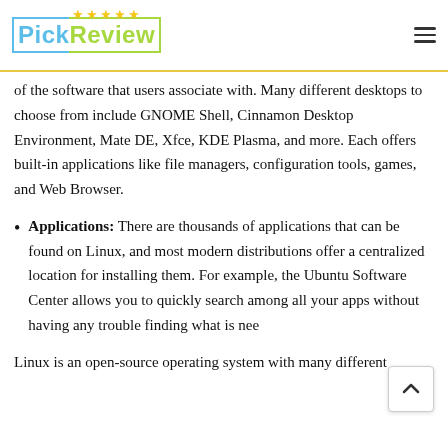PickReview
of the software that users associate with. Many different desktops to choose from include GNOME Shell, Cinnamon Desktop Environment, Mate DE, Xfce, KDE Plasma, and more. Each offers built-in applications like file managers, configuration tools, games, and Web Browser.
Applications: There are thousands of applications that can be found on Linux, and most modern distributions offer a centralized location for installing them. For example, the Ubuntu Software Center allows you to quickly search among all your apps without having any trouble finding what is nee…
Linux is an open-source operating system with many different